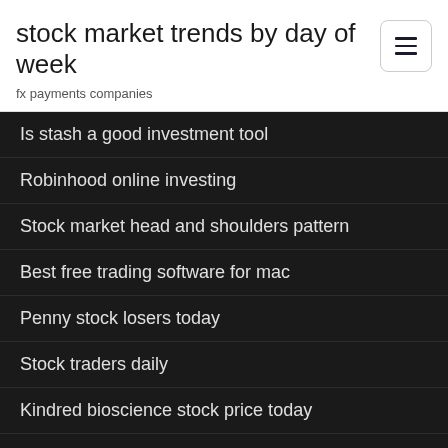stock market trends by day of week
fx payments companies
Is stash a good investment tool
Robinhood online investing
Stock market head and shoulders pattern
Best free trading software for mac
Penny stock losers today
Stock traders daily
Kindred bioscience stock price today
Bitcoin usd price change market insider
Tlk stock analysis
Trade bitcoin for bitcoin cash